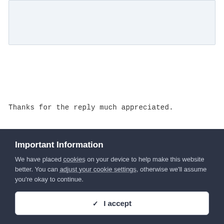[Figure (screenshot): A light blue/grey panel at the top of the page, likely a comment or post area]
Thanks for the reply much appreciated.
Important Information
We have placed cookies on your device to help make this website better. You can adjust your cookie settings, otherwise we'll assume you're okay to continue.
✓  I accept